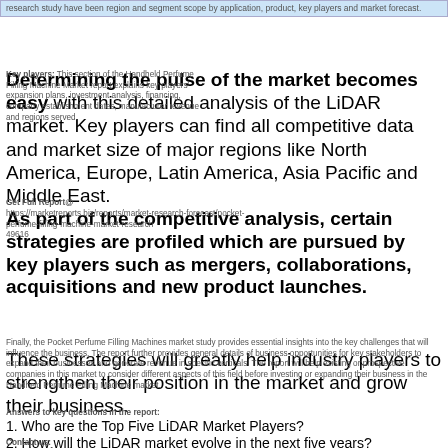research study have been region and segment scope by application, product, key players and market forecast.
Determining the pulse of the market becomes easy with this detailed analysis of the LiDAR market. Key players can find all competitive data and market size of major regions like North America, Europe, Latin America, Asia Pacific and Middle East. As part of the competitive analysis, certain strategies are profiled which are pursued by key players such as mergers, collaborations, acquisitions and new product launches. These strategies will greatly help industry players to strengthen their position in the market and grow their business.
Key players: This section of the Handheld Perfume Filling Machine Market report explains key players' expansion plans, investment analysis, financing, company establishment dates, manufacturer revenue and regions served.
Get Full Report@ https://marketreports.biz/reports/market-research-forecast/pocket-perfume-filling-machine-market-research 49616
Finally, the Pocket Perfume Filling Machines market study provides essential insights into the key challenges that will influence the business. The report further provides general details of business opportunities for key stakeholders to expand their businesses and generate revenue in specific verticals. The report will help existing or prospective companies in this market to consider different aspects of this field before investing or expanding their business in the Handheld Perfume Filling Machine market.
Answers to key questions in the report:
1. Who are the Top Five LiDAR Market Players?
2. How will the LiDAR market evolve in the next five years?
Contact us:
Overview of Market Reports
sales@marketreportsinsights.com
3. Which products and applications will occupy the